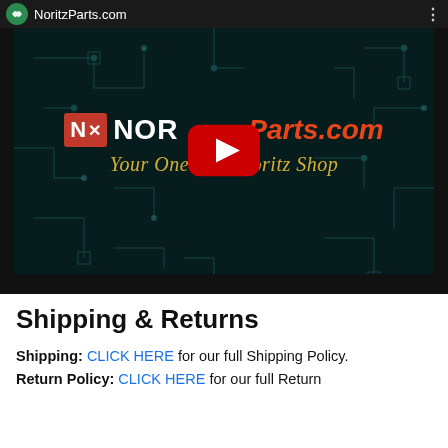NoritzParts.com
[Figure (screenshot): YouTube video thumbnail for NoritzParts.com showing a circuit board background with the NoritzParts.com logo and tagline 'Your One Stop Noritz Shop', with a red YouTube play button overlay in the center]
Shipping & Returns
Shipping: CLICK HERE for our full Shipping Policy. Return Policy: CLICK HERE for our full Return